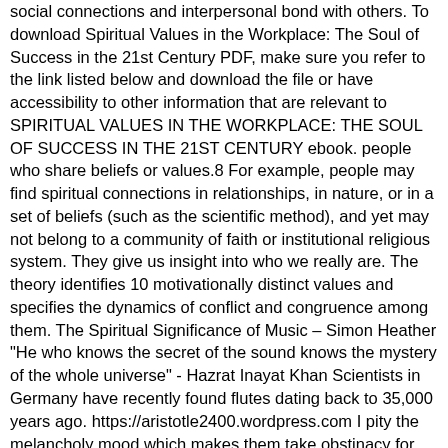social connections and interpersonal bond with others. To download Spiritual Values in the Workplace: The Soul of Success in the 21st Century PDF, make sure you refer to the link listed below and download the file or have accessibility to other information that are relevant to SPIRITUAL VALUES IN THE WORKPLACE: THE SOUL OF SUCCESS IN THE 21ST CENTURY ebook. people who share beliefs or values.8 For example, people may find spiritual connections in relationships, in nature, or in a set of beliefs (such as the scientific method), and yet may not belong to a community of faith or institutional religious system. They give us insight into who we really are. The theory identifies 10 motivationally distinct values and specifies the dynamics of conflict and congruence among them. The Spiritual Significance of Music – Simon Heather "He who knows the secret of the sound knows the mystery of the whole universe" - Hazrat Inayat Khan Scientists in Germany have recently found flutes dating back to 35,000 years ago. https://aristotle2400.wordpress.com I pity the melancholy mood which makes them take obstinacy for wisdom. 2■■@!+■■■Z■■■ ■!h■!■MD ■■■■/